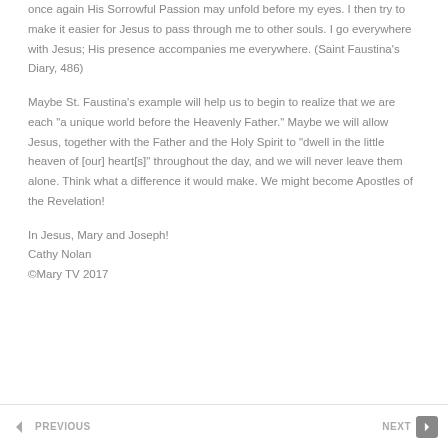once again His Sorrowful Passion may unfold before my eyes. I then try to make it easier for Jesus to pass through me to other souls. I go everywhere with Jesus; His presence accompanies me everywhere. (Saint Faustina's Diary, 486)
Maybe St. Faustina's example will help us to begin to realize that we are each "a unique world before the Heavenly Father." Maybe we will allow Jesus, together with the Father and the Holy Spirit to "dwell in the little heaven of [our] heart[s]" throughout the day, and we will never leave them alone. Think what a difference it would make. We might become Apostles of the Revelation!
In Jesus, Mary and Joseph!
Cathy Nolan
©Mary TV 2017
PREVIOUS   NEXT